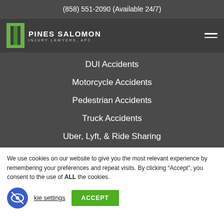(858) 551-2090 (Available 24/7)
[Figure (logo): Pines Salomon Injury Lawyers, APC logo with green pillar icon]
DUI Accidents
Motorcycle Accidents
Pedestrian Accidents
Truck Accidents
Uber, Lyft, & Ride Sharing
We use cookies on our website to give you the most relevant experience by remembering your preferences and repeat visits. By clicking “Accept”, you consent to the use of ALL the cookies.
kie settings
ACCEPT